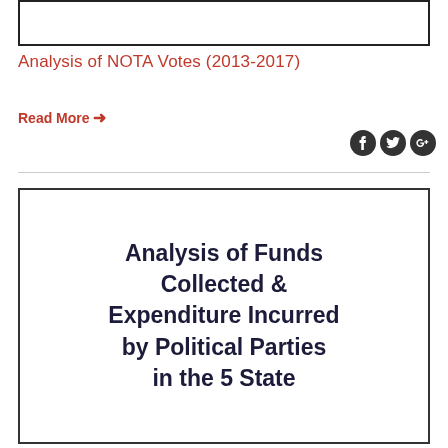[Figure (other): Top image box (partially visible, cropped at top of page)]
Analysis of NOTA Votes (2013-2017)
Read More →
[Figure (illustration): Card with bold text: Analysis of Funds Collected & Expenditure Incurred by Political Parties in the 5 State]